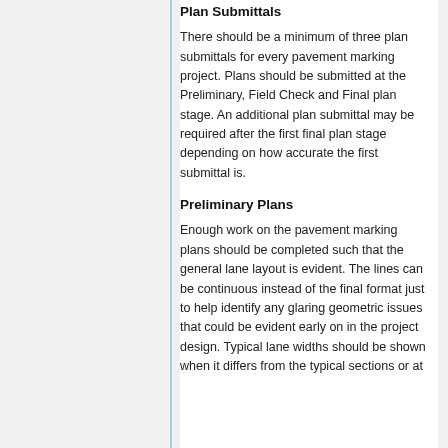Plan Submittals
There should be a minimum of three plan submittals for every pavement marking project. Plans should be submitted at the Preliminary, Field Check and Final plan stage. An additional plan submittal may be required after the first final plan stage depending on how accurate the first submittal is.
Preliminary Plans
Enough work on the pavement marking plans should be completed such that the general lane layout is evident. The lines can be continuous instead of the final format just to help identify any glaring geometric issues that could be evident early on in the project design. Typical lane widths should be shown when it differs from the typical sections or at